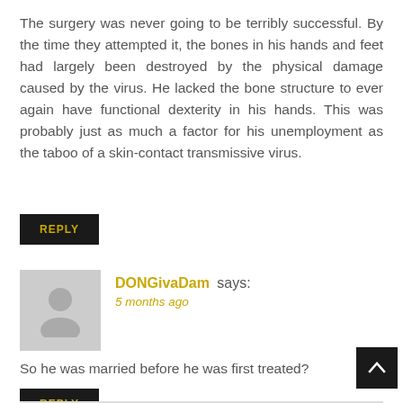The surgery was never going to be terribly successful. By the time they attempted it, the bones in his hands and feet had largely been destroyed by the physical damage caused by the virus. He lacked the bone structure to ever again have functional dexterity in his hands. This was probably just as much a factor for his unemployment as the taboo of a skin-contact transmissive virus.
REPLY
DONGivaDam says:
5 months ago
So he was married before he was first treated?
REPLY